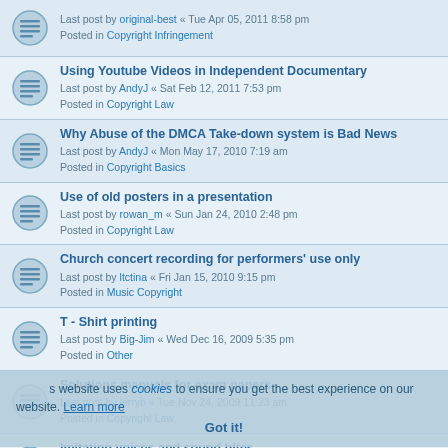Last post by original-best « Tue Apr 05, 2011 8:58 pm
Posted in Copyright Infringement
Using Youtube Videos in Independent Documentary
Last post by AndyJ « Sat Feb 12, 2011 7:53 pm
Posted in Copyright Law
Why Abuse of the DMCA Take-down system is Bad News
Last post by AndyJ « Mon May 17, 2010 7:19 am
Posted in Copyright Basics
Use of old posters in a presentation
Last post by rowan_m « Sun Jan 24, 2010 2:48 pm
Posted in Copyright Law
Church concert recording for performers' use only
Last post by ltctina « Fri Jan 15, 2010 9:15 pm
Posted in Music Copyright
T - Shirt printing
Last post by Big-Jim « Wed Dec 16, 2009 5:35 pm
Posted in Other
Solutions manuals for exam papers
Last post by jerryb « Tue Nov 24, 2009 11:23 am
Posted in Copyright Law
Imitating voices and sound bites
Last post by davemalt « Wed Oct 14, 2009 9:25 pm
Posted in Copyright Law
Karloff Frankenstein image -- answer from Universal Pictures
Last post by Ekko « Fri Sep 25, 2009 9:39 am
Posted in Copyright and Permissions